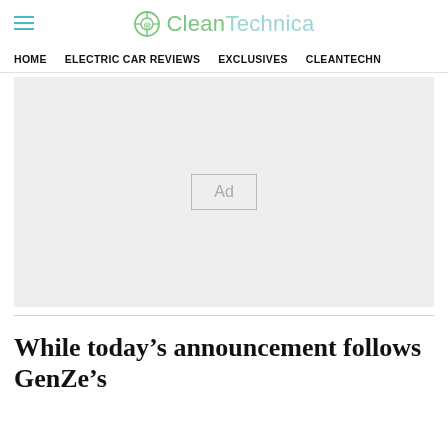CleanTechnica
HOME   ELECTRIC CAR REVIEWS   EXCLUSIVES   CLEANTECHN
[Figure (other): Advertisement placeholder box with 'Ad' label centered on gray background]
While today’s announcement follows GenZe’s